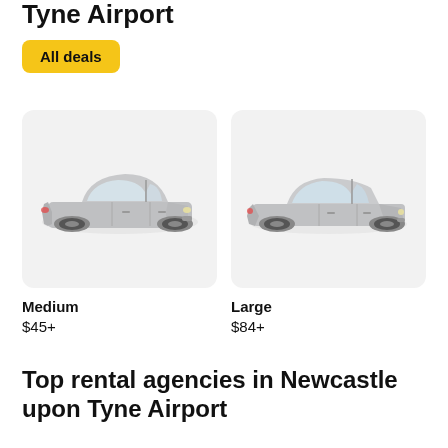Tyne Airport
All deals
[Figure (photo): Silver medium-sized hatchback/sedan car on light gray background]
[Figure (photo): Silver large sedan car on light gray background]
Medium
$45+
Large
$84+
Top rental agencies in Newcastle upon Tyne Airport